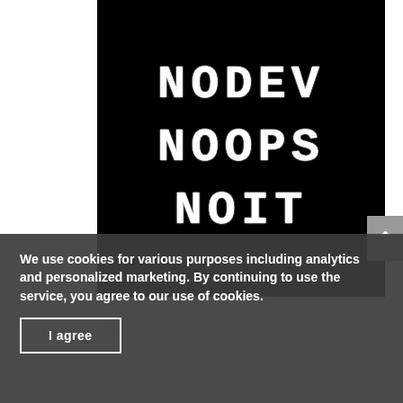[Figure (illustration): Black background image with LCD/digital-style white text reading 'NODEV', 'NOOPS', 'NOIT' stacked vertically]
We use cookies for various purposes including analytics and personalized marketing. By continuing to use the service, you agree to our use of cookies.
I agree